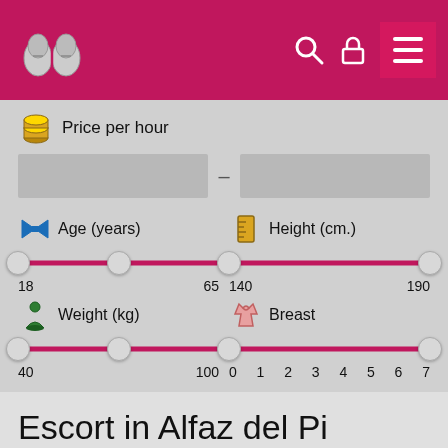[Figure (screenshot): Website header with logo (two slippers), search icon, lock icon, and menu button on crimson background]
Price per hour
Age (years)
Height (cm.)
18   65
140   190
Weight (kg)
Breast
40   100
0 1 2 3 4 5 6 7
Escort in Alfaz del Pi
No results were found for your search, see other profiles on our website: